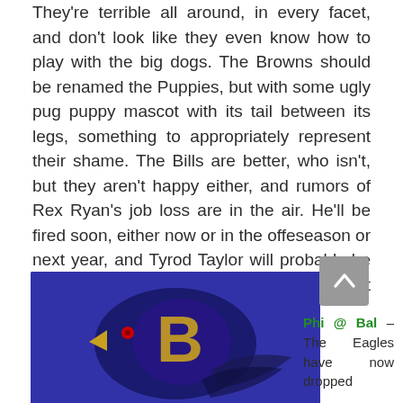They're terrible all around, in every facet, and don't look like they even know how to play with the big dogs. The Browns should be renamed the Puppies, but with some ugly pug puppy mascot with its tail between its legs, something to appropriately represent their shame. The Bills are better, who isn't, but they aren't happy either, and rumors of Rex Ryan's job loss are in the air. He'll be fired soon, either now or in the offeseason or next year, and Tyrod Taylor will probably be replaced as well. So, Bills win I guess, but this isn't a game that matters.
[Figure (photo): Baltimore Ravens logo on blue background]
Phi @ Bal – The Eagles have now dropped